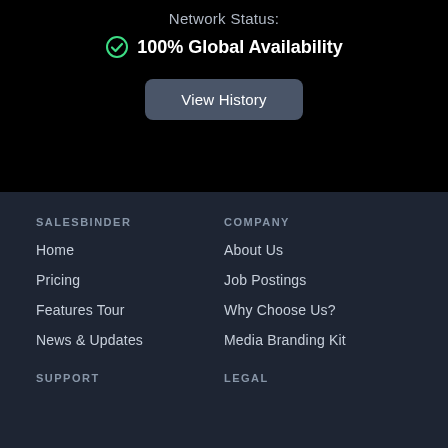Network Status:
✓ 100% Global Availability
View History
SALESBINDER
COMPANY
Home
About Us
Pricing
Job Postings
Features Tour
Why Choose Us?
News & Updates
Media Branding Kit
SUPPORT
LEGAL